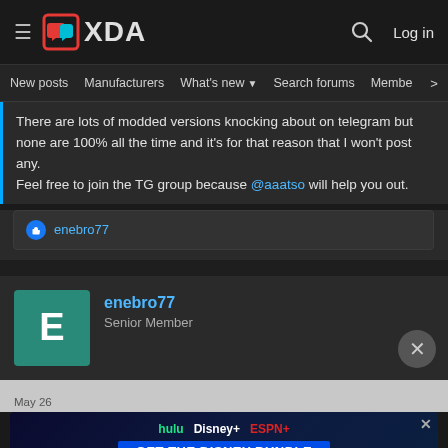XDA Developers forum navigation bar with logo, search, and Log in
New posts   Manufacturers   What's new   Search forums   Members   >
There are lots of modded versions knocking about on telegram but none are 100% all the time and it's for that reason that I won't post any. Feel free to join the TG group because @aaatso will help you out.
enebro77
enebro77
Senior Member
May 26
[Figure (screenshot): Disney Bundle advertisement banner with Hulu, Disney+, ESPN+ logos and GET THE DISNEY BUNDLE call to action]
aaatso said